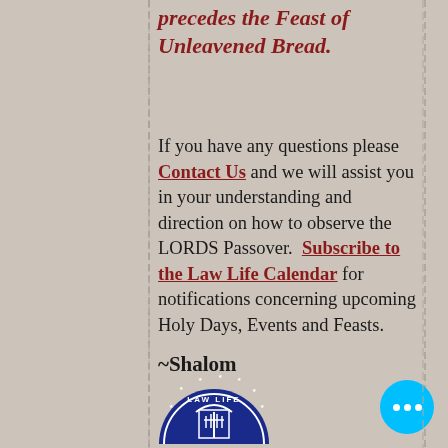precedes the Feast of Unleavened Bread.
If you have any questions please Contact Us and we will assist you in your understanding and direction on how to observe the LORDS Passover.  Subscribe to the Law Life Calendar for notifications concerning upcoming Holy Days, Events and Feasts.
~Shalom
[Figure (logo): Law Life organization seal/logo — circular blue badge with white text and imagery]